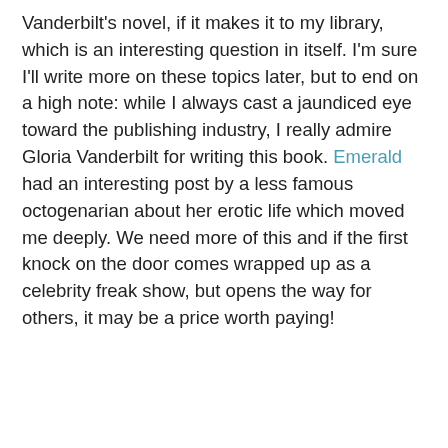Vanderbilt's novel, if it makes it to my library, which is an interesting question in itself. I'm sure I'll write more on these topics later, but to end on a high note: while I always cast a jaundiced eye toward the publishing industry, I really admire Gloria Vanderbilt for writing this book. Emerald had an interesting post by a less famous octogenarian about her erotic life which moved me deeply. We need more of this and if the first knock on the door comes wrapped up as a celebrity freak show, but opens the way for others, it may be a price worth paying!
Donna at 7:33 AM     13 comments:
Share
Monday, June 22, 2009
Isabel Kerr and Beauty Under the Skin
[Figure (photo): A photo showing a person with dark hair, upper body visible, soft pinkish-beige tones]